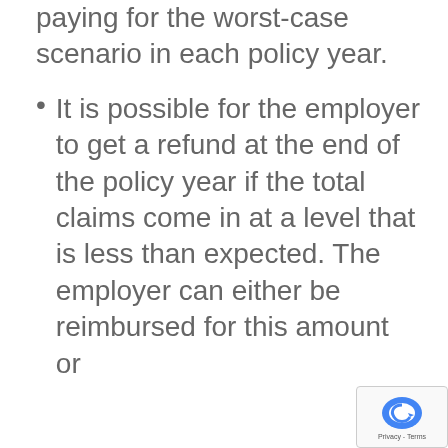paying for the worst-case scenario in each policy year.
It is possible for the employer to get a refund at the end of the policy year if the total claims come in at a level that is less than expected. The employer can either be reimbursed for this amount or